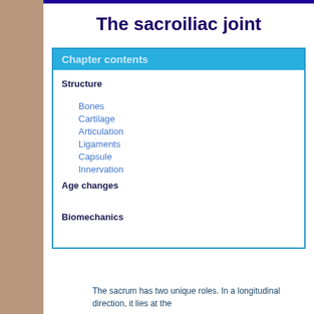The sacroiliac joint
Chapter contents
Structure
Bones
Cartilage
Articulation
Ligaments
Capsule
Innervation
Age changes
Biomechanics
The sacrum has two unique roles. In a longitudinal direction, it lies at the